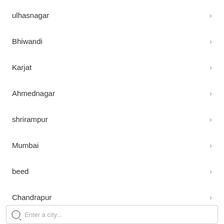ulhasnagar
Bhiwandi
Karjat
Ahmednagar
shrirampur
Mumbai
beed
Chandrapur